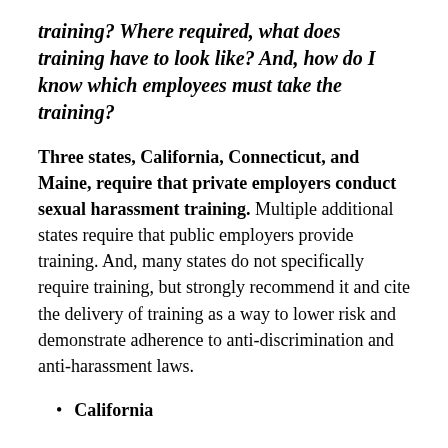training? Where required, what does training have to look like? And, how do I know which employees must take the training?
Three states, California, Connecticut, and Maine, require that private employers conduct sexual harassment training. Multiple additional states require that public employers provide training. And, many states do not specifically require training, but strongly recommend it and cite the delivery of training as a way to lower risk and demonstrate adherence to anti-discrimination and anti-harassment laws.
California